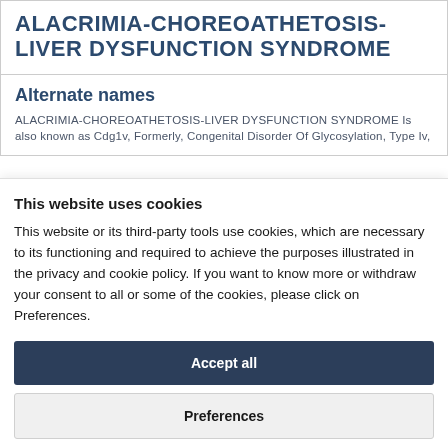ALACRIMIA-CHOREOATHETOSIS-LIVER DYSFUNCTION SYNDROME
Alternate names
ALACRIMIA-CHOREOATHETOSIS-LIVER DYSFUNCTION SYNDROME Is also known as Cdg1v, Formerly, Congenital Disorder Of Glycosylation, Type Iv,
This website uses cookies
This website or its third-party tools use cookies, which are necessary to its functioning and required to achieve the purposes illustrated in the privacy and cookie policy. If you want to know more or withdraw your consent to all or some of the cookies, please click on Preferences.
Accept all
Preferences